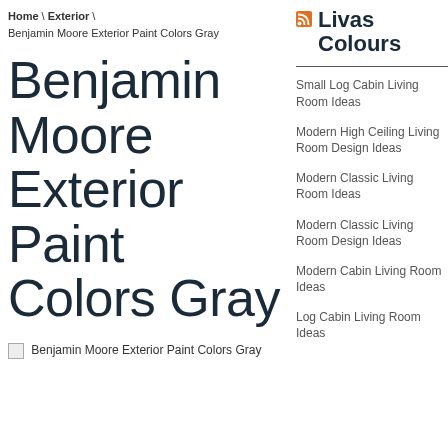Home \ Exterior \ Benjamin Moore Exterior Paint Colors Gray
Benjamin Moore Exterior Paint Colors Gray
[Figure (photo): Broken image placeholder for Benjamin Moore Exterior Paint Colors Gray]
Livas Colours
Small Log Cabin Living Room Ideas
Modern High Ceiling Living Room Design Ideas
Modern Classic Living Room Ideas
Modern Classic Living Room Design Ideas
Modern Cabin Living Room Ideas
Log Cabin Living Room Ideas